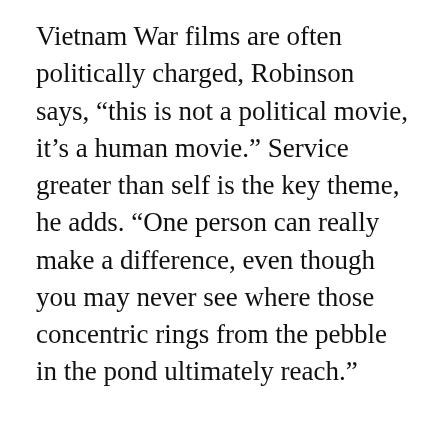Vietnam War films are often politically charged, Robinson says, “this is not a political movie, it’s a human movie.” Service greater than self is the key theme, he adds. “One person can really make a difference, even though you may never see where those concentric rings from the pebble in the pond ultimately reach.”